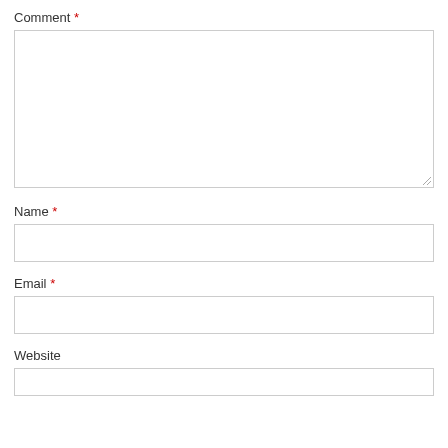Comment *
[Figure (other): Large textarea input box for comment field with resize handle at bottom-right]
Name *
[Figure (other): Single-line text input box for name field]
Email *
[Figure (other): Single-line text input box for email field]
Website